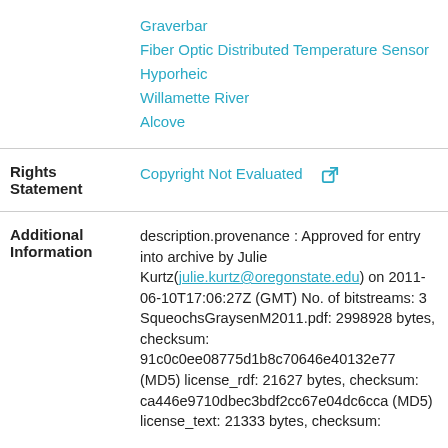| Field | Value |
| --- | --- |
|  | Graverbar
Fiber Optic Distributed Temperature Sensor
Hyporheic
Willamette River
Alcove |
| Rights Statement | Copyright Not Evaluated [external link] |
| Additional Information | description.provenance : Approved for entry into archive by Julie Kurtz(julie.kurtz@oregonstate.edu) on 2011-06-10T17:06:27Z (GMT) No. of bitstreams: 3 SqueochsGraysenM2011.pdf: 2998928 bytes, checksum: 91c0c0ee08775d1b8c70646e40132e77 (MD5) license_rdf: 21627 bytes, checksum: ca446e9710dbec3bdf2cc67e04dc6cca (MD5) license_text: 21333 bytes, checksum: |